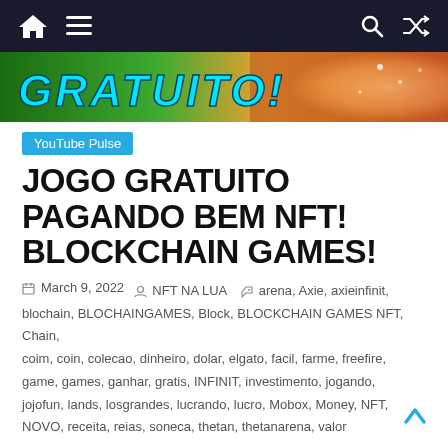Navigation bar with home, menu, search, and shuffle icons
[Figure (photo): Banner image showing colorful game promotional graphic with text 'GRATUITO' in cyan stylized font on green/orange background]
YouTube Pulse
JOGO GRATUITO PAGANDO BEM NFT! BLOCKCHAIN GAMES!
March 9, 2022  NFT NA LUA  arena, Axie, axieinfinit, blochain, BLOCHAINGAMES, Block, BLOCKCHAIN GAMES NFT, Chain, coim, coin, colecao, dinheiro, dolar, elgato, facil, farme, freefire, game, games, ganhar, gratis, INFINIT, investimento, jogando, jojofun, lands, losgrandes, lucrando, lucro, Mobox, Money, NFT, NOVO, receita, reias, soneca, thetan, thetanarena, valor
VEM VER MINHAS LIVES https://www.twitch.tv/elgato_ BAIXE O THETAN ARENA!